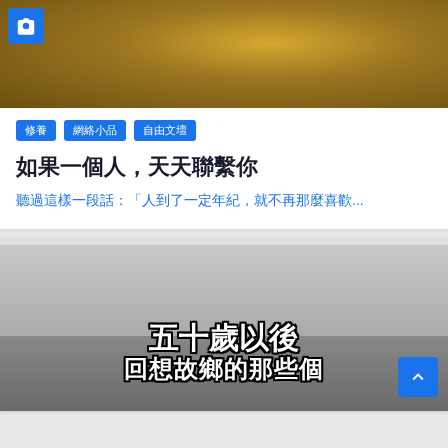[Figure (photo): Top image showing a golden-brown landscape or water surface with a camera icon overlay in the top-left corner]
修養
網絡小品
自由文壇
如果一個人，天天聯繫你
聽過這樣一段話：「人到了一定年紀，就不再那麼喜歡...
[Figure (photo): Bottom image showing a grey sky landscape with bold white Chinese text reading '五十歲以後' and partial text below, with a back-to-top button in the bottom right]